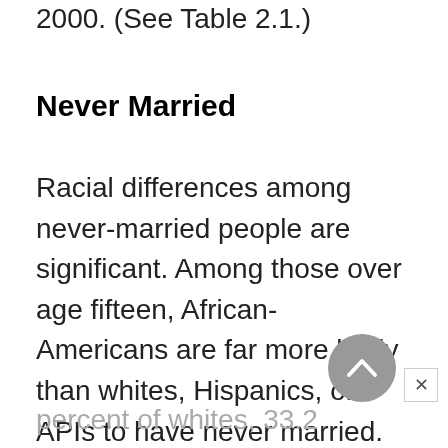2000. (See Table 2.1.)
Never Married
Racial differences among never-married people are significant. Among those over age fifteen, African-Americans are far more likely than whites, Hispanics, or APIs to have never married. In March 2000, 43.5 percent of African-Americans had never been married, compared to 25.5
percent of whites, 33.2 percent of